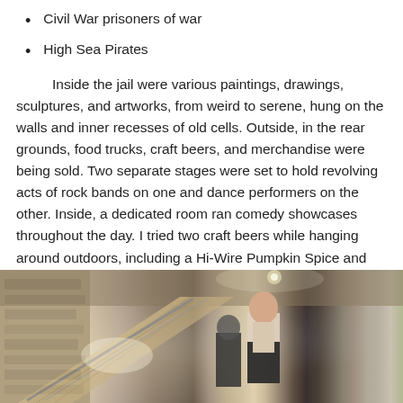Civil War prisoners of war
High Sea Pirates
Inside the jail were various paintings, drawings, sculptures, and artworks, from weird to serene, hung on the walls and inner recesses of old cells. Outside, in the rear grounds, food trucks, craft beers, and merchandise were being sold. Two separate stages were set to hold revolving acts of rock bands on one and dance performers on the other. Inside, a dedicated room ran comedy showcases throughout the day. I tried two craft beers while hanging around outdoors, including a Hi-Wire Pumpkin Spice and their Oktoberfest, just as a dance performance came on with that creepy song from Insidious, “Tiptoe Through The Tulips” (complete with little girls wearing sheep masks) which then turned into Rob Zombie’s “Dragula”.
[Figure (photo): Interior photo of an old jail or historic building showing a staircase, stone walls, and people walking around inside.]